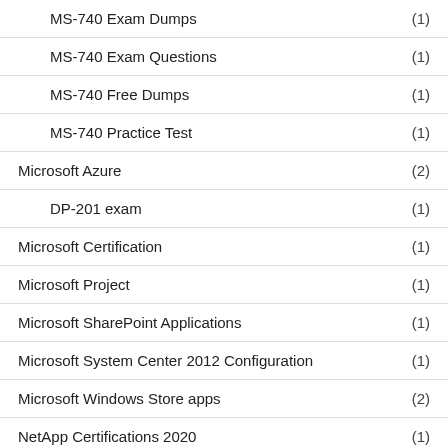MS-740 Exam Dumps (1)
MS-740 Exam Questions (1)
MS-740 Free Dumps (1)
MS-740 Practice Test (1)
Microsoft Azure (2)
DP-201 exam (1)
Microsoft Certification (1)
Microsoft Project (1)
Microsoft SharePoint Applications (1)
Microsoft System Center 2012 Configuration (1)
Microsoft Windows Store apps (2)
NetApp Certifications 2020 (1)